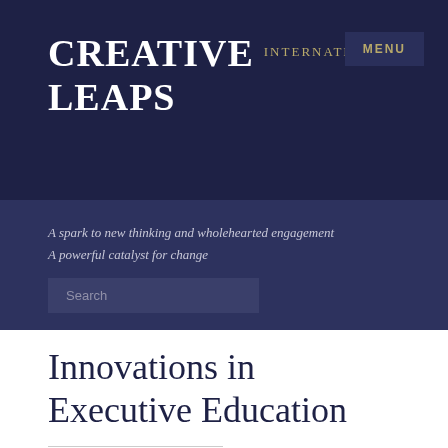CREATIVE LEAPS INTERNATIONAL
MENU
A spark to new thinking and wholehearted engagement
A powerful catalyst for change
Search
Innovations in Executive Education
Previous Project
The Initiative for Better Learning
Next Project